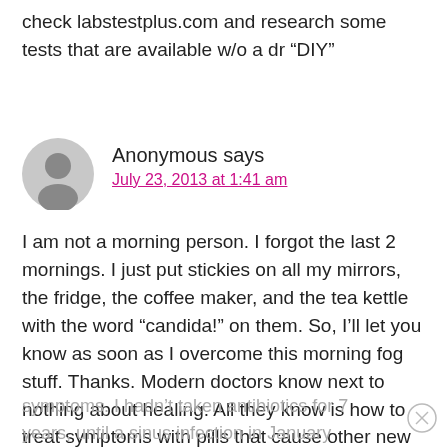check labstestplus.com and research some tests that are available w/o a dr “DIY”
Anonymous says
July 23, 2013 at 1:41 am
I am not a morning person. I forgot the last 2 mornings. I just put stickies on all my mirrors, the fridge, the coffee maker, and the tea kettle with the word “candida!” on them. So, I’ll let you know as soon as I overcome this morning fog stuff. Thanks. Modern doctors know next to nothing about healing. All they know is how to treat symptoms with pills that cause other new symptoms. I hadn’t taken antibiotics for 7 years, until a sinus infection in January